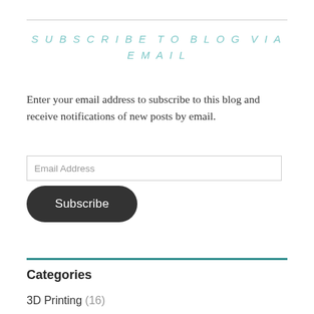SUBSCRIBE TO BLOG VIA EMAIL
Enter your email address to subscribe to this blog and receive notifications of new posts by email.
Categories
3D Printing (16)